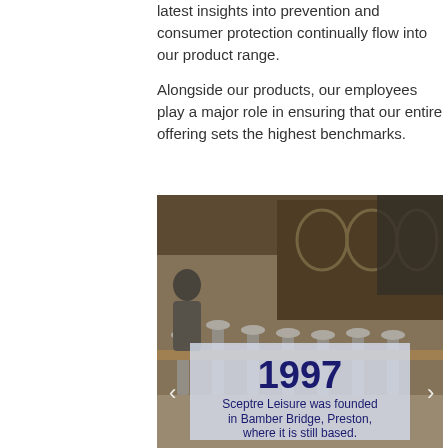latest insights into prevention and consumer protection continually flow into our product range.
Alongside our products, our employees play a major role in ensuring that our entire offering sets the highest benchmarks.
[Figure (photo): Interior of a bar/pub with stools and shelving in the background, overlaid with a semi-transparent panel showing the year 1997 and text about Sceptre Leisure being founded in Bamber Bridge, Preston, where it is still based.]